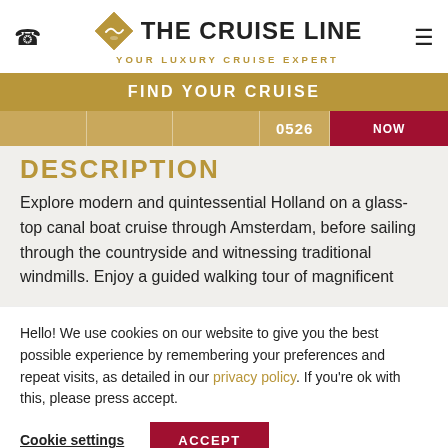[Figure (logo): The Cruise Line logo with diamond ship icon and tagline YOUR LUXURY CRUISE EXPERT]
FIND YOUR CRUISE
DESCRIPTION
Explore modern and quintessential Holland on a glass-top canal boat cruise through Amsterdam, before sailing through the countryside and witnessing traditional windmills. Enjoy a guided walking tour of magnificent
Hello! We use cookies on our website to give you the best possible experience by remembering your preferences and repeat visits, as detailed in our privacy policy. If you're ok with this, please press accept.
Cookie settings  ACCEPT